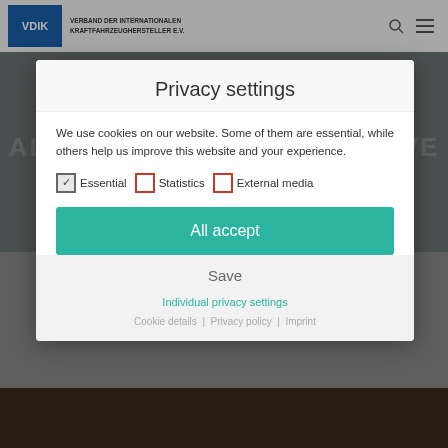[Figure (screenshot): VDIK website header with logo and organization name 'VERBAND DER INTERNATIONALEN KRAFTFAHRZEUGHERSTELLER E.V.']
[Figure (screenshot): Hero banner with faded text 'MARKET DECLINE IN MAY ALSO AFFECTS ALTERNATIVE DRIVES' on dark background]
Privacy settings
We use cookies on our website. Some of them are essential, while others help us improve this website and your experience.
Essential  Statistics  External media
All accept
Save
Individual privacy settings
Cookie details | Privacy policy | Imprint